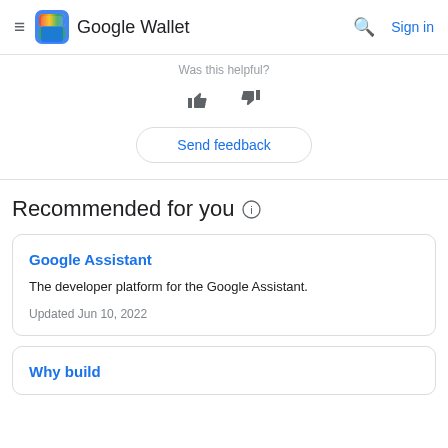Google Wallet | Sign in
Was this helpful?
[Figure (illustration): Thumbs up and thumbs down icons for feedback rating]
Send feedback
Recommended for you
Google Assistant
The developer platform for the Google Assistant.
Updated Jun 10, 2022
Why build